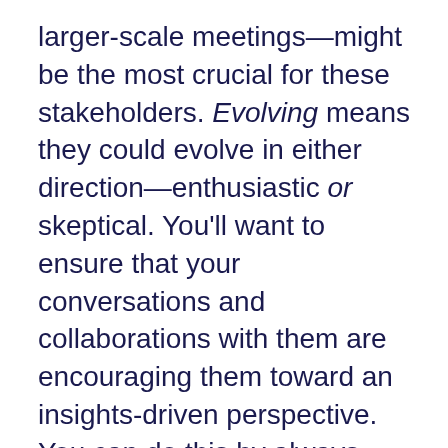larger-scale meetings—might be the most crucial for these stakeholders. Evolving means they could evolve in either direction—enthusiastic or skeptical. You'll want to ensure that your conversations and collaborations with them are encouraging them toward an insights-driven perspective. You can do this by always addressing concerns and encouraging well-informed endorsements.
As noted earlier, these perspectives should be viewed on a spectrum. Rarely will any stakeholder fit neatly into one of